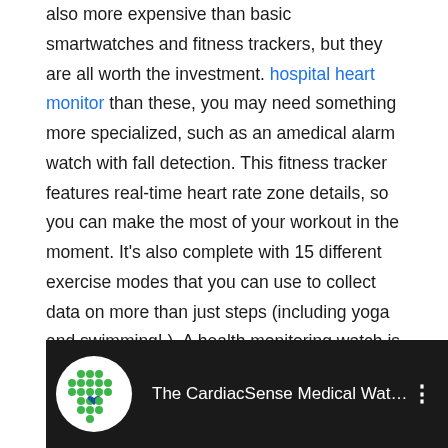also more expensive than basic smartwatches and fitness trackers, but they are all worth the investment. hospital heart monitor than these, you may need something more specialized, such as an amedical alarm watch with fall detection. This fitness tracker features real-time heart rate zone details, so you can make the most of your workout in the moment. It's also complete with 15 different exercise modes that you can use to collect data on more than just steps (including yoga and swimming! ). A health monitoring watch is a welcome technology. It's a welcome addition to the older generation who used to have to carry a bulky medical alert device around to monitor their own health. These archaic devices were difficult to use and couldn't have offered the dynamic and expansive ability to monitor and assess the environment like the smartwatches of today.
[Figure (screenshot): YouTube video thumbnail for 'The CardiacSense Medical Watch ...' with a green dot logo icon on dark background and three-dot menu icon]